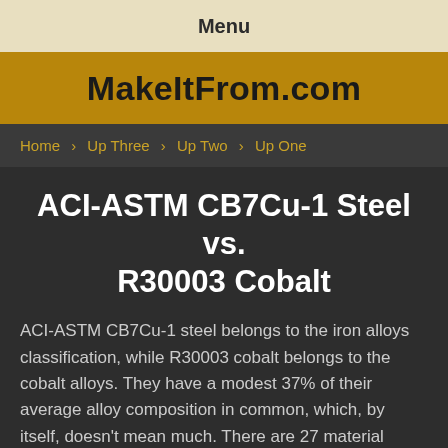Menu
MakeItFrom.com
Home > Up Three > Up Two > Up One
ACI-ASTM CB7Cu-1 Steel vs. R30003 Cobalt
ACI-ASTM CB7Cu-1 steel belongs to the iron alloys classification, while R30003 cobalt belongs to the cobalt alloys. They have a modest 37% of their average alloy composition in common, which, by itself, doesn't mean much. There are 27 material properties with values for both materials. Properties with values for just one